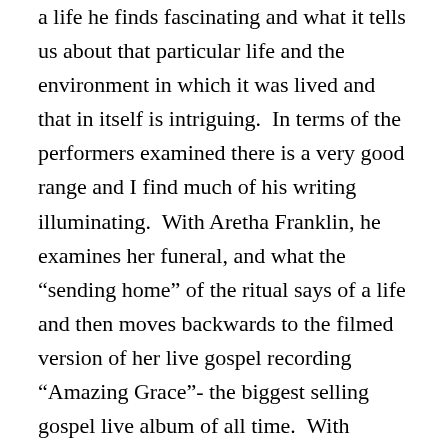a life he finds fascinating and what it tells us about that particular life and the environment in which it was lived and that in itself is intriguing.  In terms of the performers examined there is a very good range and I find much of his writing illuminating.  With Aretha Franklin, he examines her funeral, and what the “sending home” of the ritual says of a life and then moves backwards to the filmed version of her live gospel recording “Amazing Grace”- the biggest selling gospel live album of all time.  With Whitney Houston he focuses on the response of the black audience and how that changed.  There’s a lively section about the antagonism between two demonstrative performers, Joe Tex and James Brown.  The issue of “blackface” is dealt with through William Lane known as Master Juba who